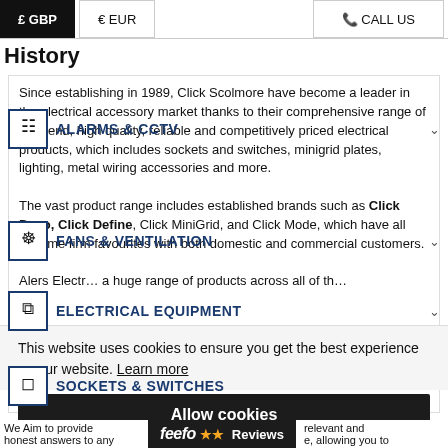£ GBP  € EUR  📞 CALL US
History
Since establishing in 1989, Click Scolmore have become a leader in the electrical accessory market thanks to their comprehensive range of high-end, high quality, reliable and competitively priced electrical products, which includes sockets and switches, minigrid plates, lighting, metal wiring accessories and more.
The vast product range includes established brands such as Click Deco, Click Define, Click MiniGrid, and Click Mode, which have all become firm favourites with both domestic and commercial customers.
Alerts Electrical … a huge range of products across all of the …
This website uses cookies to ensure you get the best experience on our website. Learn more
Allow cookies
We Aim to provide … feefo Reviews … relevant and honest answers to any … e, allowing you to